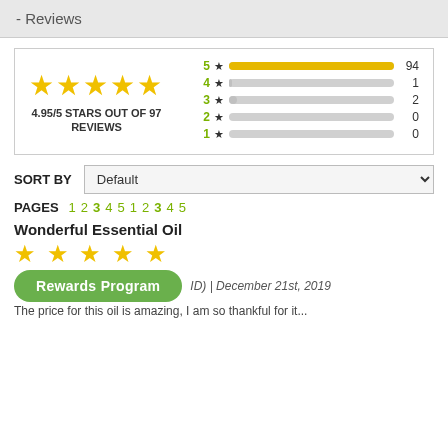- Reviews
[Figure (bar-chart): 4.95/5 STARS OUT OF 97 REVIEWS]
SORT BY  Default
PAGES  1  2  3  4  5  1  2  3  4  5
Wonderful Essential Oil
★★★★★
Rewards Program  ID) | December 21st, 2019
The price for this oil is amazing, I am so thankful for it...